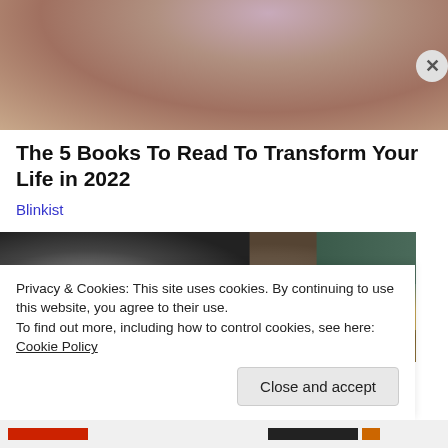[Figure (photo): Partial photo of a person (woman) in a white top, cropped to show neck and upper chest area, gray background.]
The 5 Books To Read To Transform Your Life in 2022
Blinkist
[Figure (photo): Two people wearing sunglasses seated in what appears to be stadium seating with green and wood-colored chairs. A man with gray hair on the left and a woman with brown hair on the right.]
Privacy & Cookies: This site uses cookies. By continuing to use this website, you agree to their use.
To find out more, including how to control cookies, see here: Cookie Policy
Close and accept